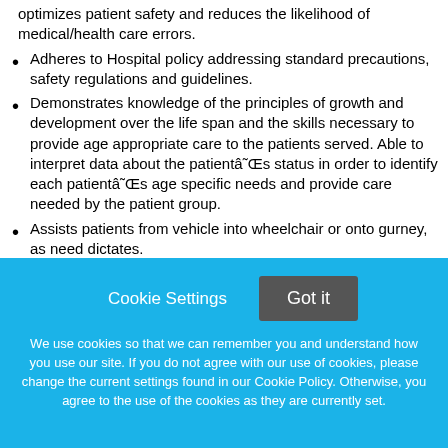optimizes patient safety and reduces the likelihood of medical/health care errors.
Adheres to Hospital policy addressing standard precautions, safety regulations and guidelines.
Demonstrates knowledge of the principles of growth and development over the life span and the skills necessary to provide age appropriate care to the patients served. Able to interpret data about the patientâs status in order to identify each patientâs age specific needs and provide care needed by the patient group.
Assists patients from vehicle into wheelchair or onto gurney, as need dictates.
Responds to patient and visitor questions and needs immediately and within established standards.
Cookie Settings  Got it
We use cookies so that we can remember you and understand how you use our site. If you do not agree with our use of cookies, please change the current settings found in our Cookie Policy. Otherwise, you agree to the use of the cookies as they are currently set.